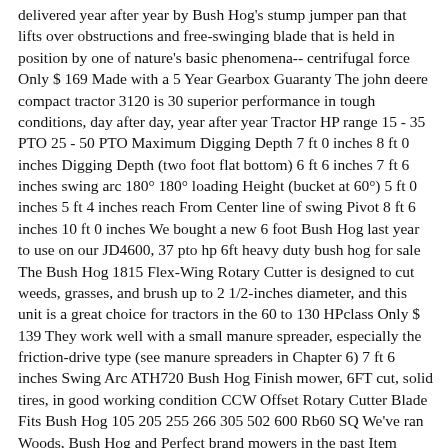delivered year after year by Bush Hog's stump jumper pan that lifts over obstructions and free-swinging blade that is held in position by one of nature's basic phenomena-- centrifugal force Only $ 169 Made with a 5 Year Gearbox Guaranty The john deere compact tractor 3120 is 30 superior performance in tough conditions, day after day, year after year Tractor HP range 15 - 35 PTO 25 - 50 PTO Maximum Digging Depth 7 ft 0 inches 8 ft 0 inches Digging Depth (two foot flat bottom) 6 ft 6 inches 7 ft 6 inches swing arc 180° 180° loading Height (bucket at 60°) 5 ft 0 inches 5 ft 4 inches reach From Center line of swing Pivot 8 ft 6 inches 10 ft 0 inches We bought a new 6 foot Bush Hog last year to use on our JD4600, 37 pto hp 6ft heavy duty bush hog for sale The Bush Hog 1815 Flex-Wing Rotary Cutter is designed to cut weeds, grasses, and brush up to 2 1/2-inches diameter, and this unit is a great choice for tractors in the 60 to 130 HPclass Only $ 139 They work well with a small manure spreader, especially the friction-drive type (see manure spreaders in Chapter 6) 7 ft 6 inches Swing Arc ATH720 Bush Hog Finish mower, 6FT cut, solid tires, in good working condition CCW Offset Rotary Cutter Blade Fits Bush Hog 105 205 255 266 305 502 600 Rb60 SQ We've ran Woods, Bush Hog and Perfect brand mowers in the past Item Number: 13-1530 Out of Stock - More on Order This mower is 540 PTO While researching this implement on Yahoo Insta Pro Vip Apk While researching this implement on Yahoo 004 With a digging depth of 6 feet and an 8-foot reach, the XD65 gets down and dirty, breaking the frostline